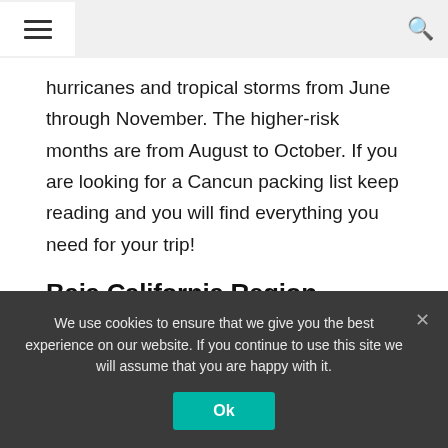≡ [hamburger menu] [search icon]
hurricanes and tropical storms from June through November. The higher-risk months are from August to October. If you are looking for a Cancun packing list keep reading and you will find everything you need for your trip!
Baja California Region
We use cookies to ensure that we give you the best experience on our website. If you continue to use this site we will assume that you are happy with it.